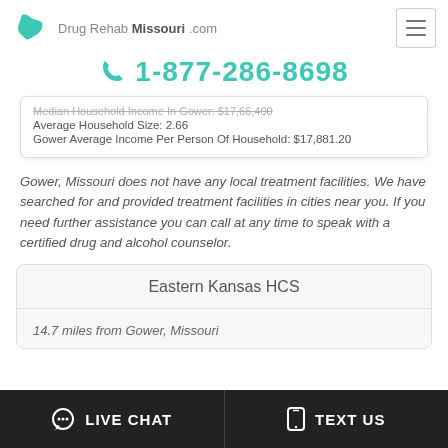Drug Rehab Missouri .com
1-877-286-8698
Average Household Size: 2.66
Gower Average Income Per Person Of Household: $17,881.20
Gower, Missouri does not have any local treatment facilities. We have searched for and provided treatment facilities in cities near you. If you need further assistance you can call at any time to speak with a certified drug and alcohol counselor.
Eastern Kansas HCS
14.7 miles from Gower, Missouri
LIVE CHAT   TEXT US